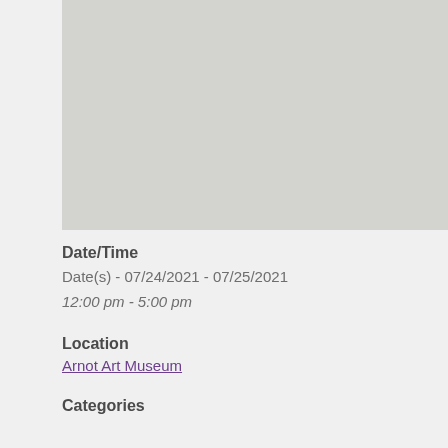[Figure (photo): Gray placeholder image area at the top of the page]
Date/Time
Date(s) - 07/24/2021 - 07/25/2021
12:00 pm - 5:00 pm
Location
Arnot Art Museum
Categories